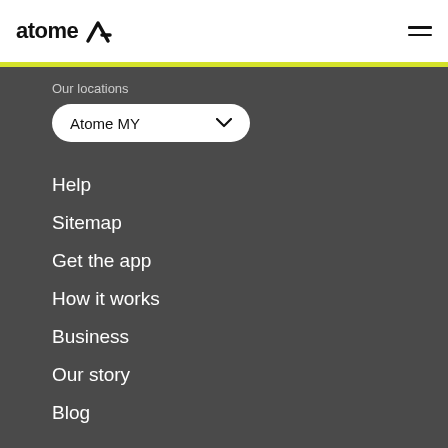atome (logo with navigation icon)
Our locations
Atome MY
Help
Sitemap
Get the app
How it works
Business
Our story
Blog